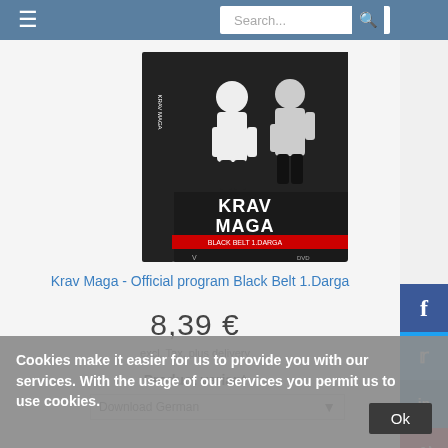Search...
[Figure (photo): Krav Maga Black Belt 1.Darga DVD product box showing two people in martial arts training, with 'KRAV MAGA' text on the cover]
Krav Maga - Official program Black Belt 1.Darga
8,39 €
excl. Tax, plus delivery
Product variant
Download German
Cookies make it easier for us to provide you with our services. With the usage of our services you permit us to use cookies.